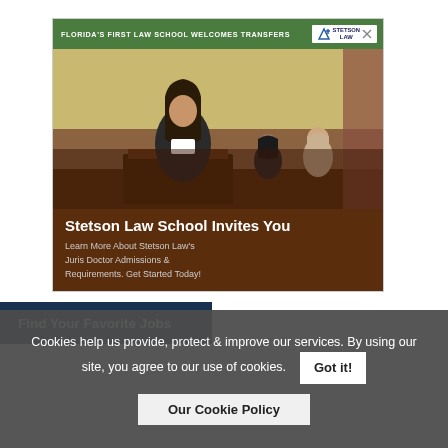[Figure (photo): Stetson Law School advertisement. Green header bar reading 'FLORIDA'S FIRST LAW SCHOOL WELCOMES TRANSFERS' with Stetson Law logo. Below is a photo of a woman speaking at a podium in a courtroom/classroom setting with people seated behind her. Dark brown overlay at bottom with bold white text 'Stetson Law School Invites You' and body text 'Learn More About Stetson Law's Juris Doctor Admissions & Requirements. Get Started Today!']
Find Your Favorite Jobs
Cookies help us provide, protect & improve our services. By using our site, you agree to our use of cookies.
Got it!
Our Cookie Policy